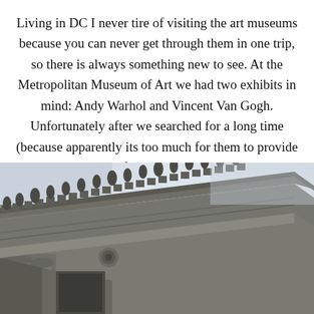Living in DC I never tire of visiting the art museums because you can never get through them in one trip, so there is always something new to see. At the Metropolitan Museum of Art we had two exhibits in mind: Andy Warhol and Vincent Van Gogh. Unfortunately after we searched for a long time (because apparently its too much for them to provide detailed maps) we figured out that the Warhols are not on exhibit.
[Figure (photo): Exterior architectural photo of a neoclassical building (Metropolitan Museum of Art) taken from a low angle, showing ornate stone cornice with decorative carvings and statues against a pale grey overcast sky.]